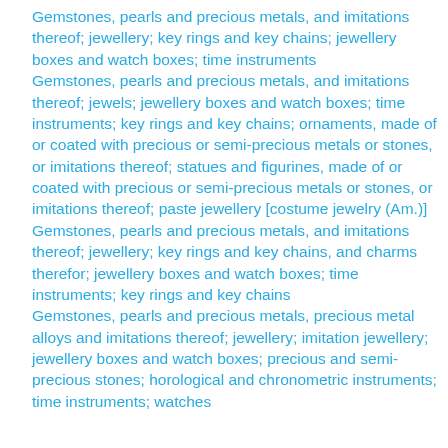Gemstones, pearls and precious metals, and imitations thereof; jewellery; key rings and key chains; jewellery boxes and watch boxes; time instruments
Gemstones, pearls and precious metals, and imitations thereof; jewels; jewellery boxes and watch boxes; time instruments; key rings and key chains; ornaments, made of or coated with precious or semi-precious metals or stones, or imitations thereof; statues and figurines, made of or coated with precious or semi-precious metals or stones, or imitations thereof; paste jewellery [costume jewelry (Am.)]
Gemstones, pearls and precious metals, and imitations thereof; jewellery; key rings and key chains, and charms therefor; jewellery boxes and watch boxes; time instruments; key rings and key chains
Gemstones, pearls and precious metals, precious metal alloys and imitations thereof; jewellery; imitation jewellery; jewellery boxes and watch boxes; precious and semi-precious stones; horological and chronometric instruments; time instruments; watches